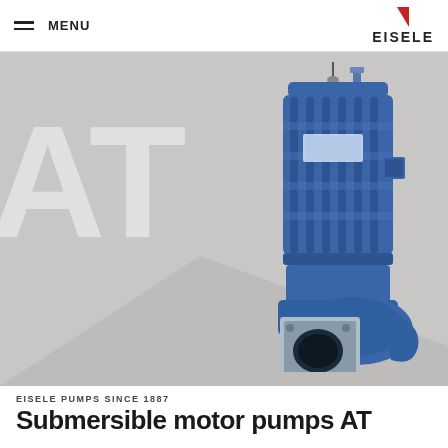MENU | EISELE
[Figure (photo): Submersible motor pump AT shown in blue color, large industrial pump with cylindrical motor housing and ribbed casing, with a square face outlet flange at bottom. Background is a light grey concrete texture with large white 'AT' watermark letters.]
EISELE PUMPS SINCE 1887
Submersible motor pumps AT